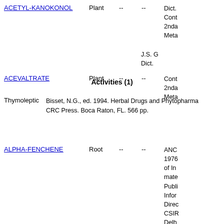ACETYL-KANOKONOL  Plant  --  --  Dict. Cont. 2nda Meta
ACEVALTRATE  Plant  --  --  J.S. Dict. Cont. 2nda Meta
Activities (1)
Thymoleptic  Bisset, N.G., ed. 1994. Herbal Drugs and Phytopharma CRC Press. Boca Raton, FL. 566 pp.
ALPHA-FENCHENE  Root  --  --  ANC 1976 of In mate Publi Infor Direc CSIR Delh volum ANC 1976